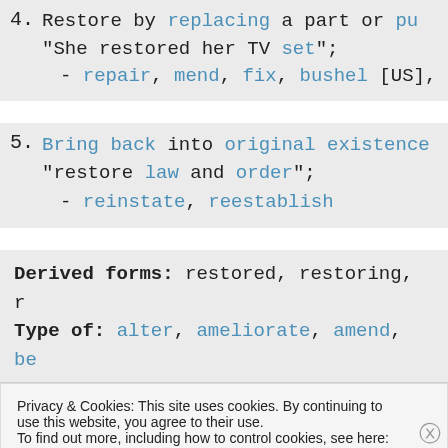4. Restore by replacing a part or pu "She restored her TV set"; - repair, mend, fix, bushel [US],
5. Bring back into original existence "restore law and order"; - reinstate, reestablish
Derived forms: restored, restoring, r Type of: alter, ameliorate, amend, be
Privacy & Cookies: This site uses cookies. By continuing to use this website, you agree to their use. To find out more, including how to control cookies, see here: Cookie Policy
Close and accept